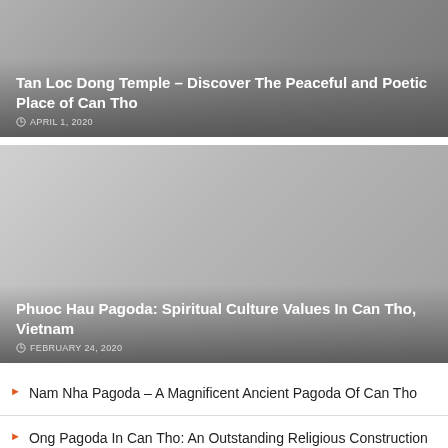[Figure (photo): Article card with grey gradient image area for Tan Loc Dong Temple article]
Tan Loc Dong Temple – Discover The Peaceful and Poetic Place of Can Tho
APRIL 1, 2020
[Figure (photo): Article card with light grey gradient image area for Phuoc Hau Pagoda article]
Phuoc Hau Pagoda: Spiritual Culture Values In Can Tho, Vietnam
FEBRUARY 24, 2020
Nam Nha Pagoda – A Magnificent Ancient Pagoda Of Can Tho
Ong Pagoda In Can Tho: An Outstanding Religious Construction in